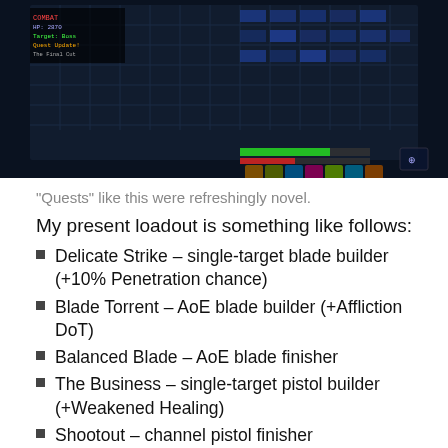[Figure (screenshot): In-game screenshot showing a dark sci-fi MMO interface with HUD elements, skill bars, and blue-tinted grid background]
“Quests” like this were refreshingly novel.
My present loadout is something like follows:
Delicate Strike – single-target blade builder (+10% Penetration chance)
Blade Torrent – AoE blade builder (+Affliction DoT)
Balanced Blade – AoE blade finisher
The Business – single-target pistol builder (+Weakened Healing)
Shootout – channel pistol finisher
Above the Law – Targeted AoE cooldown damage field
The other relevant passives meanwhile are: